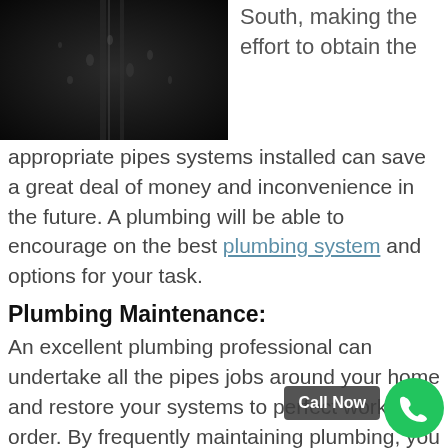[Figure (photo): Dark close-up photo of water droplets on a dark metallic/pipe surface]
South, making the effort to obtain the appropriate pipes systems installed can save a great deal of money and inconvenience in the future. A plumbing will be able to encourage on the best plumbing system and options for your task.
Plumbing Maintenance:
An excellent plumbing professional can undertake all the pipes jobs around your home and restore your systems to perfect working order. By frequently maintaining plumbing, you can reduce the likelihood of little issues turning severe.
Grease Trap Setup And Upkeep:
A plumbing professional's function is vital in the setup and maintenance of grease traps. Incorrec... allowing wastewater to discharge to the sewage system whe... can trigger blockages and chokes.